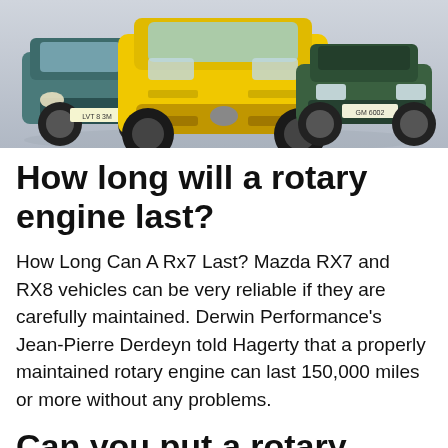[Figure (photo): Three Mazda rotary engine cars lined up facing forward: a teal/green older Mazda on the left, a yellow sports car (RX-7) in the center front, and a green/teal convertible on the right, photographed on a light grey background.]
How long will a rotary engine last?
How Long Can A Rx7 Last? Mazda RX7 and RX8 vehicles can be very reliable if they are carefully maintained. Derwin Performance's Jean-Pierre Derdeyn told Hagerty that a properly maintained rotary engine can last 150,000 miles or more without any problems.
Can you put a rotary engine in any car?